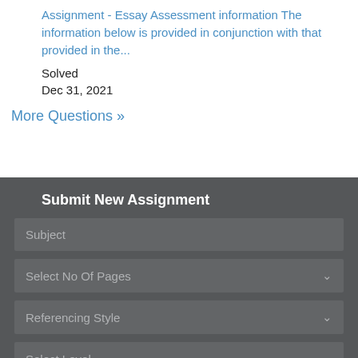Assignment - Essay Assessment information The information below is provided in conjunction with that provided in the...
Solved
Dec 31, 2021
More Questions »
Submit New Assignment
Subject
Select No Of Pages
Referencing Style
Select Level